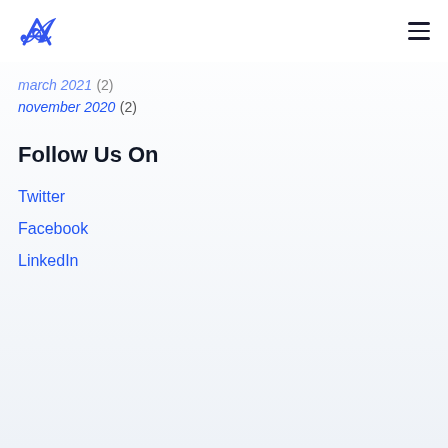Logo and navigation menu
march 2021 (2)
november 2020 (2)
Follow Us On
Twitter
Facebook
LinkedIn